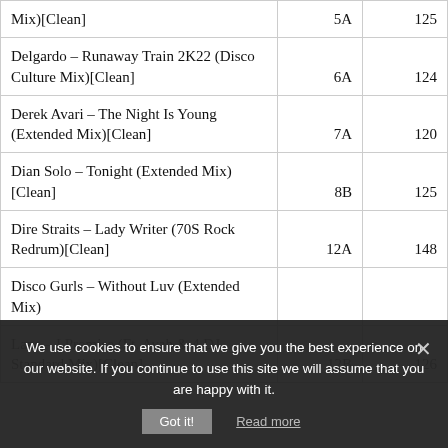| Track | Key | BPM |
| --- | --- | --- |
| Mix)[Clean] | 5A | 125 |
| Delgardo – Runaway Train 2K22 (Disco Culture Mix)[Clean] | 6A | 124 |
| Derek Avari – The Night Is Young (Extended Mix)[Clean] | 7A | 120 |
| Dian Solo – Tonight (Extended Mix)[Clean] | 8B | 125 |
| Dire Straits – Lady Writer (70S Rock Redrum)[Clean] | 12A | 148 |
| Disco Gurls – Without Luv (Extended Mix) |  |  |
| [partial row obscured] | 12B | 126 |
We use cookies to ensure that we give you the best experience on our website. If you continue to use this site we will assume that you are happy with it.